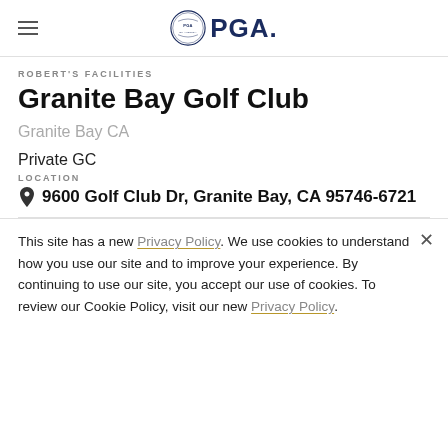PGA
ROBERT'S FACILITIES
Granite Bay Golf Club
Granite Bay CA
Private GC
LOCATION
9600 Golf Club Dr, Granite Bay, CA 95746-6721
This site has a new Privacy Policy. We use cookies to understand how you use our site and to improve your experience. By continuing to use our site, you accept our use of cookies. To review our Cookie Policy, visit our new Privacy Policy.